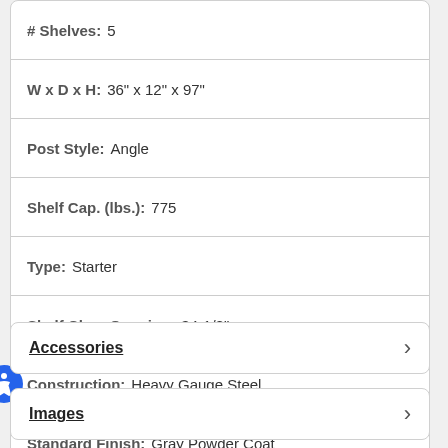| Attribute | Value |
| --- | --- |
| # Shelves: | 5 |
| W x D x H: | 36" x 12" x 97" |
| Post Style: | Angle |
| Shelf Cap. (lbs.): | 775 |
| Type: | Starter |
| Shelf Clear Opening: | 34-1/8" |
| Construction: | Heavy Gauge Steel |
| Standard Finish: | Gray Powder Coat |
| Weight: | 114.0 lbs. ea. |
Accessories
Images